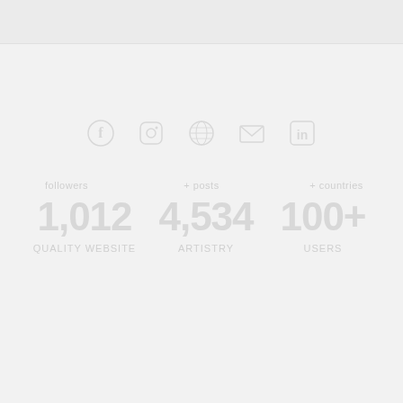[Figure (infographic): Light gray background page with a top decorative bar, social media icons (Facebook, Instagram, Pinterest/globe, email, LinkedIn) rendered in very light gray, and large faded gray statistical numbers with labels below them. The content is barely visible against the light background.]